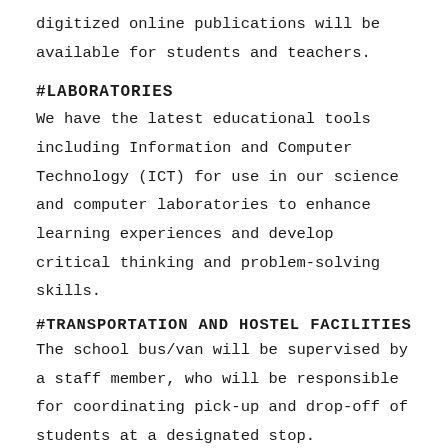digitized online publications will be available for students and teachers.
#LABORATORIES
We have the latest educational tools including Information and Computer Technology (ICT) for use in our science and computer laboratories to enhance learning experiences and develop critical thinking and problem-solving skills.
#TRANSPORTATION AND HOSTEL FACILITIES
The school bus/van will be supervised by a staff member, who will be responsible for coordinating pick-up and drop-off of students at a designated stop. Additionally, our bus/van will have a Global Positioning System (GPS) for tracking the vehicle in route for safety and security. Hostel students will be under the care and guidance of an